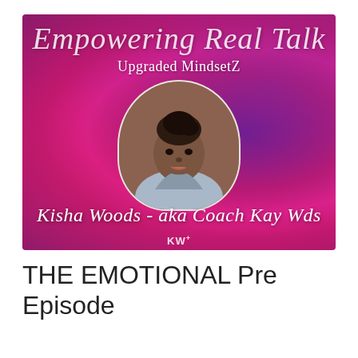[Figure (illustration): Podcast cover art with magenta/purple smoky background. Top text in script font reads 'Empowering Real Talk', below that 'Upgraded MindsetZ' in white serif. Center shows a portrait photo of a woman in a rounded arch frame. Bottom text reads 'Kisha Woods - aka Coach Kay Wds' in white script. KW logo at very bottom.]
THE EMOTIONAL Pre Episode